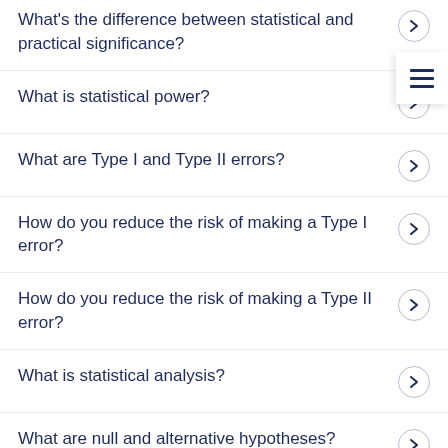What's the difference between statistical and practical significance?
What is statistical power?
What are Type I and Type II errors?
How do you reduce the risk of making a Type I error?
How do you reduce the risk of making a Type II error?
What is statistical analysis?
What are null and alternative hypotheses?
What is a power analysis?